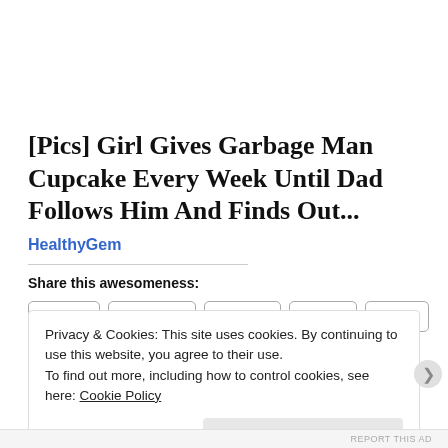[Pics] Girl Gives Garbage Man Cupcake Every Week Until Dad Follows Him And Finds Out...
HealthyGem
Share this awesomeness:
Twitter | Facebook | Reddit | Email | Print
Privacy & Cookies: This site uses cookies. By continuing to use this website, you agree to their use.
To find out more, including how to control cookies, see here: Cookie Policy
Close and accept